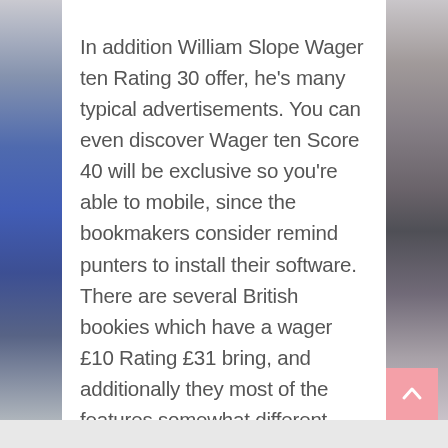In addition William Slope Wager ten Rating 30 offer, he's many typical advertisements. You can even discover Wager ten Score 40 will be exclusive so you're able to mobile, since the bookmakers consider remind punters to install their software. There are several British bookies which have a wager £10 Rating £31 bring, and additionally they most of the features somewhat different words, therefore you should investigate specifics of each of them just before deciding which to help you claim.